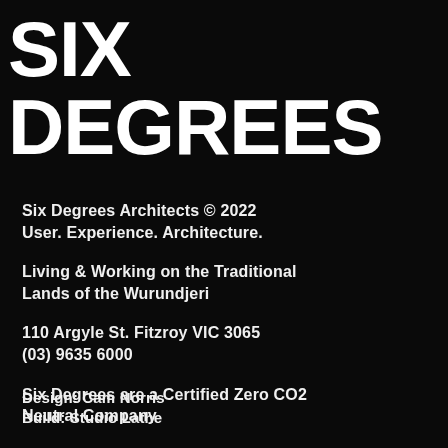SIX DEGREES
Six Degrees Architects © 2022
User. Experience. Architecture.
Living & Working on the Traditional Lands of the Wurundjeri
110 Argyle St. Fitzroy VIC 3065
(03) 9635 6000
Six Degrees are a Certified Zero CO2 Neutral Company
Six Degrees Newsletter
Subscribe
Design: Cam Norris
Build: Studio Lathe